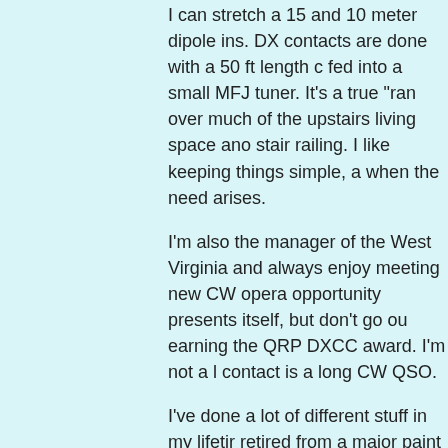I can stretch a 15 and 10 meter dipole ins. DX contacts are done with a 50 ft length c fed into a small MFJ tuner. It's a true "ran over much of the upstairs living space ano stair railing. I like keeping things simple, a when the need arises.
I'm also the manager of the West Virginia and always enjoy meeting new CW opera opportunity presents itself, but don't go ou earning the QRP DXCC award. I'm not a I contact is a long CW QSO.
I've done a lot of different stuff in my lifetir retired from a major paint company. I worl mechanic in the southern coal fields for al was air conditioning. I held over 20 differe the paint company. I'm a former Navy sign member of the Tonkin Gulf Yacht Club. I'm State University.
I play the guitar, piano, ukulele, and recor but enjoy playing for friends and small gro geocache. I have two children and five gra